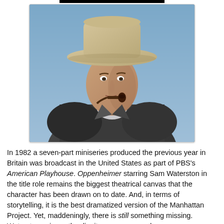[Figure (photo): A man wearing a wide-brimmed khaki hat and dark jacket, smoking a pipe, photographed against a blue sky background. Appears to be a still from a television production.]
In 1982 a seven-part miniseries produced the previous year in Britain was broadcast in the United States as part of PBS's American Playhouse. Oppenheimer starring Sam Waterston in the title role remains the biggest theatrical canvas that the character has been drawn on to date. And, in terms of storytelling, it is the best dramatized version of the Manhattan Project. Yet, maddeningly, there is still something missing. Waterston evinces the dignity, arrogance and